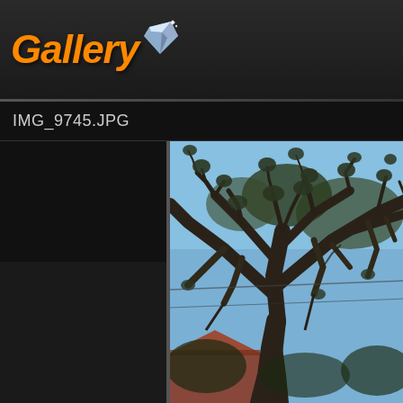[Figure (logo): Gallery application logo with orange italic bold text 'Gallery' and a gem/diamond icon in the top-left corner on a dark background]
IMG_9745.JPG
[Figure (photo): Photograph of a large tree with gnarled branches and sparse foliage against a blue sky, with a red-roofed building visible at the bottom left]